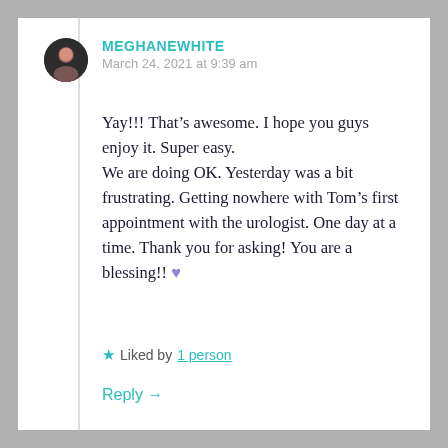MEGHANEWHITE
March 24, 2021 at 9:39 am
Yay!!! That’s awesome. I hope you guys enjoy it. Super easy.
We are doing OK. Yesterday was a bit frustrating. Getting nowhere with Tom’s first appointment with the urologist. One day at a time. Thank you for asking! You are a blessing!! 💜
★ Liked by 1 person
Reply →